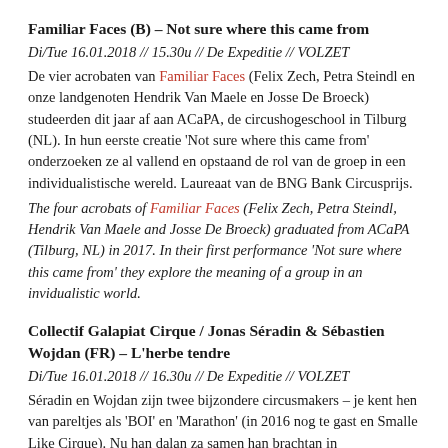Familiar Faces (B) – Not sure where this came from
Di/Tue 16.01.2018 // 15.30u // De Expeditie // VOLZET
De vier acrobaten van Familiar Faces (Felix Zech, Petra Steindl en onze landgenoten Hendrik Van Maele en Josse De Broeck) studeerden dit jaar af aan ACaPA, de circushogeschool in Tilburg (NL). In hun eerste creatie 'Not sure where this came from' onderzoeken ze al vallend en opstaand de rol van de groep in een individualistische wereld. Laureaat van de BNG Bank Circusprijs.
The four acrobats of Familiar Faces (Felix Zech, Petra Steindl, Hendrik Van Maele and Josse De Broeck) graduated from ACaPA (Tilburg, NL) in 2017. In their first performance 'Not sure where this came from' they explore the meaning of a group in an invidualistic world.
Collectif Galapiat Cirque / Jonas Séradin & Sébastien Wojdan (FR) – L'herbe tendre
Di/Tue 16.01.2018 // 16.30u // De Expeditie // VOLZET
Séradin en Wojdan zijn twee bijzondere circusmakers – je kent hen van pareltjes als 'BOI' en 'Marathon' (in 2016 nog te gast en Smalle Like Cirque). Nu han dalan za samen han brachtan in